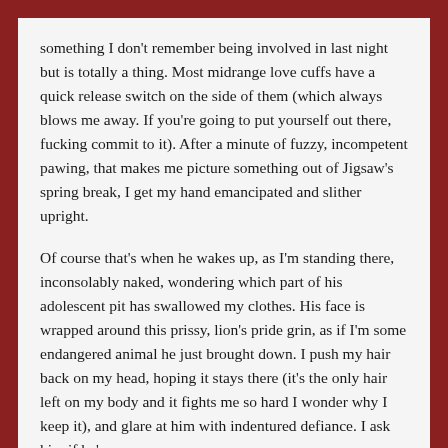something I don't remember being involved in last night but is totally a thing. Most midrange love cuffs have a quick release switch on the side of them (which always blows me away. If you're going to put yourself out there, fucking commit to it). After a minute of fuzzy, incompetent pawing, that makes me picture something out of Jigsaw's spring break, I get my hand emancipated and slither upright.
Of course that's when he wakes up, as I'm standing there, inconsolably naked, wondering which part of his adolescent pit has swallowed my clothes. His face is wrapped around this prissy, lion's pride grin, as if I'm some endangered animal he just brought down. I push my hair back on my head, hoping it stays there (it's the only hair left on my body and it fights me so hard I wonder why I keep it), and glare at him with indentured defiance. I ask him if he's